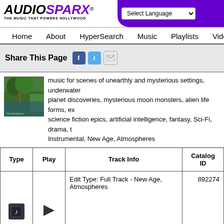[Figure (logo): AudioSparx logo with tagline THE MUSIC THAT POWERS HOLLYWOOD]
Select Language
Home   About   HyperSearch   Music   Playlists   Videos   Sound
Share This Page
music for scenes of unearthly and mysterious settings, underwater planet discoveries, mysterious moon monsters, alien life forms, ex science fiction epics, artificial intelligence, fantasy, Sci-Fi, drama, t Instrumental, New Age, Atmospheres
| Type | Play | Track Info | Catalog ID |
| --- | --- | --- | --- |
| [music icon] | [speaker icon] | Edit Type: Full Track - New Age, Atmospheres | 892274 |